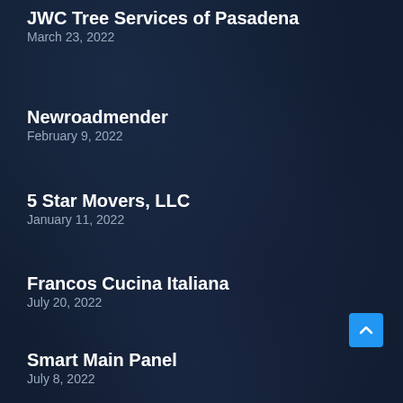JWC Tree Services of Pasadena
March 23, 2022
Newroadmender
February 9, 2022
5 Star Movers, LLC
January 11, 2022
Francos Cucina Italiana
July 20, 2022
Smart Main Panel
July 8, 2022
SGS Artificial Grass Anaheim